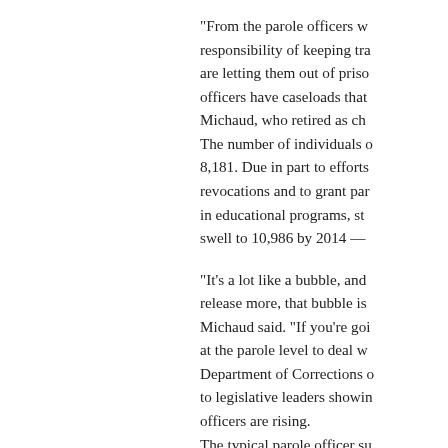"From the parole officers w... responsibility of keeping tra... are letting them out of priso... officers have caseloads that... Michaud, who retired as ch... The number of individuals o... 8,181. Due in part to efforts... revocations and to grant par... in educational programs, st... swell to 10,986 by 2014 —
"It's a lot like a bubble, and... release more, that bubble is... Michaud said. "If you're goi... at the parole level to deal w... Department of Corrections o... to legislative leaders showin... officers are rising. The typical parole officer su... overseeing nearly 69 cases a
Parole officers in 2001 each... parole officer engaging in i... cases now has nearly 23 cas...